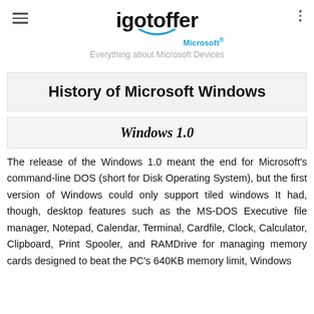igotoffer Microsoft® — Everything about Microsoft Devices
History of Microsoft Windows
Windows 1.0
The release of the Windows 1.0 meant the end for Microsoft's command-line DOS (short for Disk Operating System), but the first version of Windows could only support tiled windows It had, though, desktop features such as the MS-DOS Executive file manager, Notepad, Calendar, Terminal, Cardfile, Clock, Calculator, Clipboard, Print Spooler, and RAMDrive for managing memory cards designed to beat the PC's 640KB memory limit, Windows